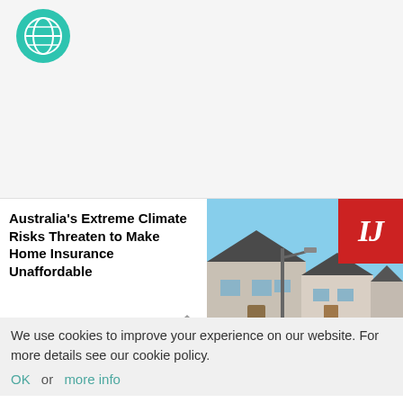[Figure (logo): Teal/green globe icon in top-left corner]
Australia's Extreme Climate Risks Threaten to Make Home Insurance Unaffordable
[Figure (photo): Photo of suburban houses with street lamp under blue sky, with IJ red badge logo in top-right corner]
Article / 2 days ago
We use cookies to improve your experience on our website. For more details see our cookie policy.
OK  or  more info